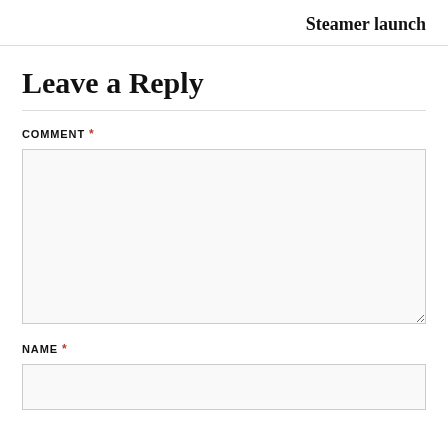Steamer launch
Leave a Reply
COMMENT *
NAME *